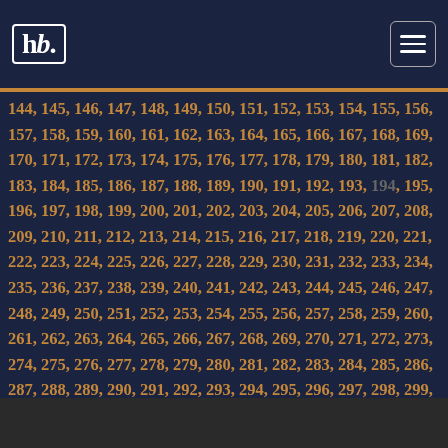hb. [logo with menu button]
144, 145, 146, 147, 148, 149, 150, 151, 152, 153, 154, 155, 156, 157, 158, 159, 160, 161, 162, 163, 164, 165, 166, 167, 168, 169, 170, 171, 172, 173, 174, 175, 176, 177, 178, 179, 180, 181, 182, 183, 184, 185, 186, 187, 188, 189, 190, 191, 192, 193, 194, 195, 196, 197, 198, 199, 200, 201, 202, 203, 204, 205, 206, 207, 208, 209, 210, 211, 212, 213, 214, 215, 216, 217, 218, 219, 220, 221, 222, 223, 224, 225, 226, 227, 228, 229, 230, 231, 232, 233, 234, 235, 236, 237, 238, 239, 240, 241, 242, 243, 244, 245, 246, 247, 248, 249, 250, 251, 252, 253, 254, 255, 256, 257, 258, 259, 260, 261, 262, 263, 264, 265, 266, 267, 268, 269, 270, 271, 272, 273, 274, 275, 276, 277, 278, 279, 280, 281, 282, 283, 284, 285, 286, 287, 288, 289, 290, 291, 292, 293, 294, 295, 296, 297, 298, 299, 300, 301, 302, 303, 304, 305, 306, 307, 308, 309, 310, 311, 312, 313, 314, 315, 316, 317, 318, 319, 320, 321, 322, 323, 324, 325, 326, 327, 328, 329, 330, 331, 332, 333, 334, 335, 336, 337, 338, 339, 340, 341, 342, 343, 344, 345, 346, 347, 348, 349, 350, 351, 352, 353, 354, 355, 356, 357, 358, 359, 360, 361, 362, 363, 364, 365, 366, 367, 368, 369, 370, 371, 372, 373, 374, 375, 376, 377, 378, 379, 380, 381, 382, 383, 384, 385, 386, 387, 388, 389, 390, 391, 392, 393, 394, 395, 396, 397, 398, 399, 400, 401, 402, 403, 404, 405, 406, 407, 408, 409, 410, 411, 412, 413